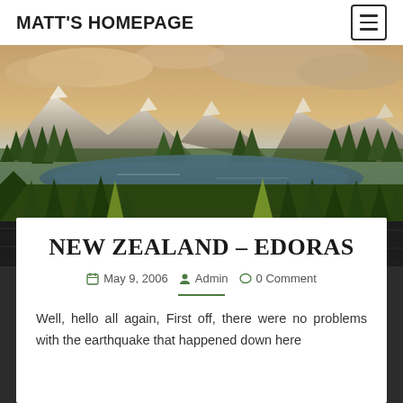MATT'S HOMEPAGE
[Figure (photo): Scenic landscape photo showing a mountain lake surrounded by evergreen trees with snow-capped peaks and dramatic cloudy sky in the background]
NEW ZEALAND – EDORAS
May 9, 2006  Admin  0 Comment
Well, hello all again, First off, there were no problems with the earthquake that happened down here